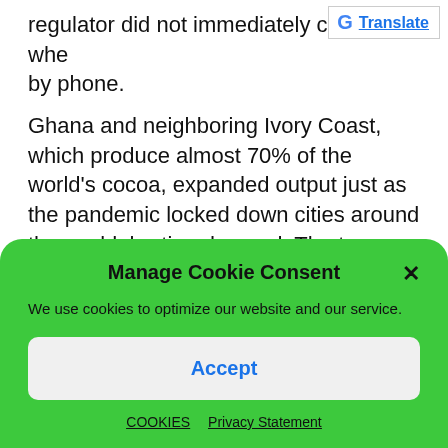regulator did not immediately comment whe... by phone.
[Figure (logo): Google Translate button with Google G logo and blue underlined 'Translate' text]
Ghana and neighboring Ivory Coast, which produce almost 70% of the world’s cocoa, expanded output just as the pandemic locked down cities around the world, hurting demand. The two countries secured a pay raise for cocoa farmers by charging companies from Hershey Co. to Nestle SA a premium of $400 per ton from Oct. 1. But a drop in consumption has left
Manage Cookie Consent
We use cookies to optimize our website and our service.
Accept
COOKIES   Privacy Statement